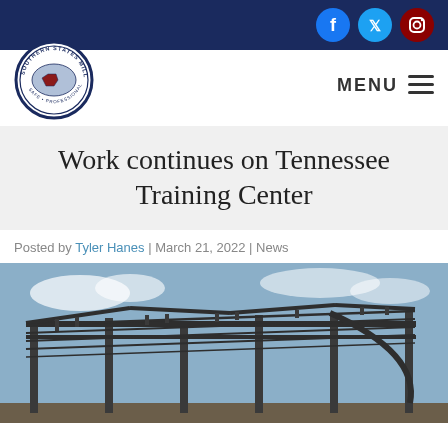Southern States Millwrights — navigation header with social icons (Facebook, Twitter, Instagram) and MENU
Work continues on Tennessee Training Center
Posted by Tyler Hanes | March 21, 2022 | News
[Figure (photo): Steel frame construction of a building under a partly cloudy sky — the Tennessee Training Center under construction]